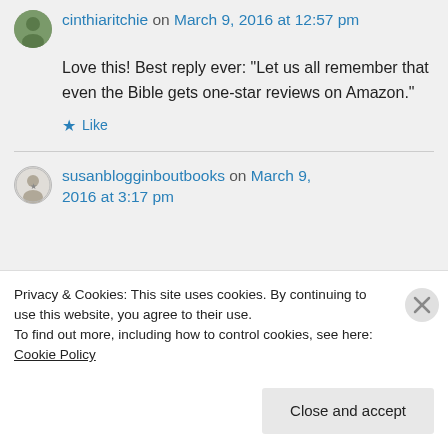cinthiaritchie on March 9, 2016 at 12:57 pm
Love this! Best reply ever: “Let us all remember that even the Bible gets one-star reviews on Amazon.”
★ Like
susanblogginboutbooks on March 9, 2016 at 3:17 pm
Privacy & Cookies: This site uses cookies. By continuing to use this website, you agree to their use.
To find out more, including how to control cookies, see here: Cookie Policy
Close and accept